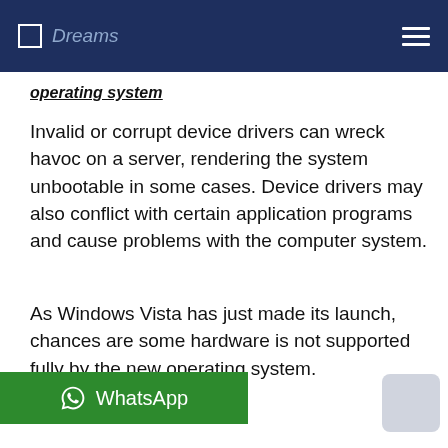Dreams
operating system
Invalid or corrupt device drivers can wreck havoc on a server, rendering the system unbootable in some cases. Device drivers may also conflict with certain application programs and cause problems with the computer system.
As Windows Vista has just made its launch, chances are some hardware is not supported fully by the new operating system.